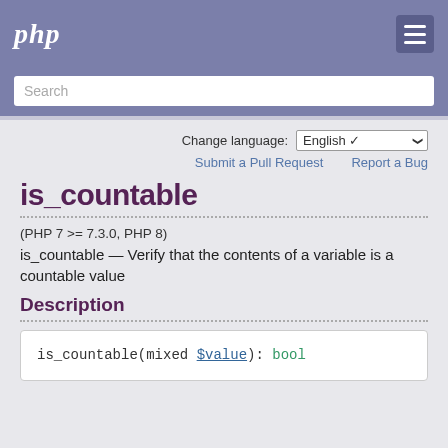php
Search
Change language: English
Submit a Pull Request   Report a Bug
is_countable
(PHP 7 >= 7.3.0, PHP 8)
is_countable — Verify that the contents of a variable is a countable value
Description